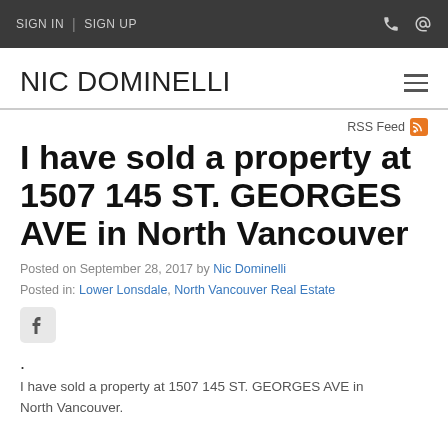SIGN IN | SIGN UP
NIC DOMINELLI
RSS Feed
I have sold a property at 1507 145 ST. GEORGES AVE in North Vancouver
Posted on September 28, 2017 by Nic Dominelli
Posted in: Lower Lonsdale, North Vancouver Real Estate
I have sold a property at 1507 145 ST. GEORGES AVE in North Vancouver.